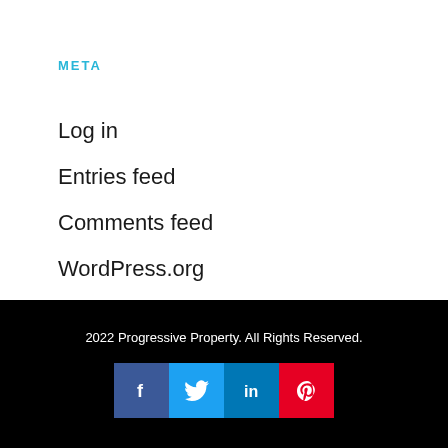META
Log in
Entries feed
Comments feed
WordPress.org
2022 Progressive Property. All Rights Reserved.